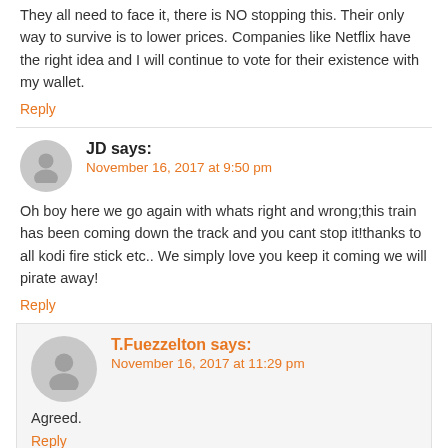They all need to face it, there is NO stopping this. Their only way to survive is to lower prices. Companies like Netflix have the right idea and I will continue to vote for their existence with my wallet.
Reply
JD says:
November 16, 2017 at 9:50 pm
Oh boy here we go again with whats right and wrong;this train has been coming down the track and you cant stop it!thanks to all kodi fire stick etc.. We simply love you keep it coming we will pirate away!
Reply
T.Fuezzelton says:
November 16, 2017 at 11:29 pm
Agreed.
Reply